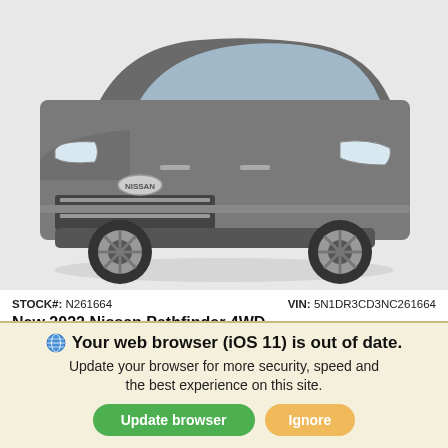[Figure (photo): Front view of a gray 2022 Nissan Pathfinder 4WD SUV on white background]
STOCK#: N261664   VIN: 5N1DR3CD3NC261664
New 2022 Nissan Pathfinder 4WD
SL SUV Sport Utility 9-Speed Automatic w/OD
Exterior: Gray / Interior: Charcoal
MSRP $47,100
*First Name   *Last Name
Your web browser (iOS 11) is out of date. Update your browser for more security, speed and the best experience on this site.
Update browser   Ignore